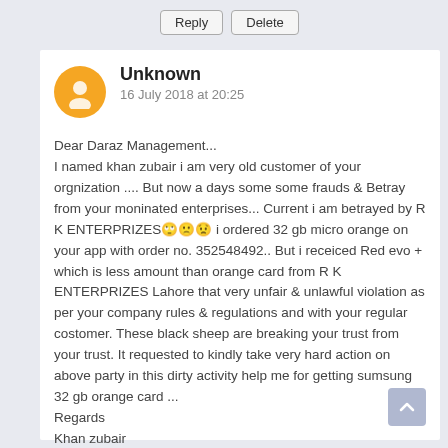Reply  Delete
Unknown
16 July 2018 at 20:25
Dear Daraz Management...
I named khan zubair i am very old customer of your orgnization .... But now a days some some frauds & Betray from your moninated enterprises... Current i am betrayed by R K ENTERPRIZES🙄🙁😟 i ordered 32 gb micro orange on your app with order no. 352548492.. But i receiced Red evo + which is less amount than orange card from R K ENTERPRIZES Lahore that very unfair & unlawful violation as per your company rules & regulations and with your regular costomer. These black sheep are breaking your trust from your trust. It requested to kindly take very hard action on above party in this dirty activity help me for getting sumsung 32 gb orange card ...
Regards
Khan zubair